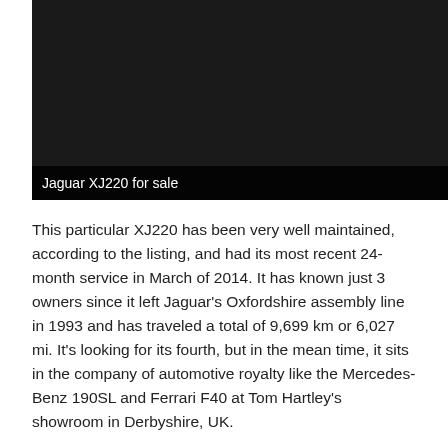[Figure (photo): Dark/black image area showing a Jaguar XJ220 for sale, with a caption bar overlay at the bottom reading 'Jaguar XJ220 for sale']
Jaguar XJ220 for sale
This particular XJ220 has been very well maintained, according to the listing, and had its most recent 24-month service in March of 2014. It has known just 3 owners since it left Jaguar’s Oxfordshire assembly line in 1993 and has traveled a total of 9,699 km or 6,027 mi. It's looking for its fourth, but in the mean time, it sits in the company of automotive royalty like the Mercedes-Benz 190SL and Ferrari F40 at Tom Hartley's showroom in Derbyshire, UK.